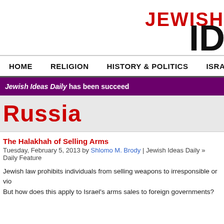JEWISH ID
HOME  RELIGION  HISTORY & POLITICS  ISRAEL  ARTS
Jewish Ideas Daily has been succeed
Russia
The Halakhah of Selling Arms
Tuesday, February 5, 2013 by Shlomo M. Brody | Jewish Ideas Daily » Daily Feature
Jewish law prohibits individuals from selling weapons to irresponsible or vio But how does this apply to Israel's arms sales to foreign governments?